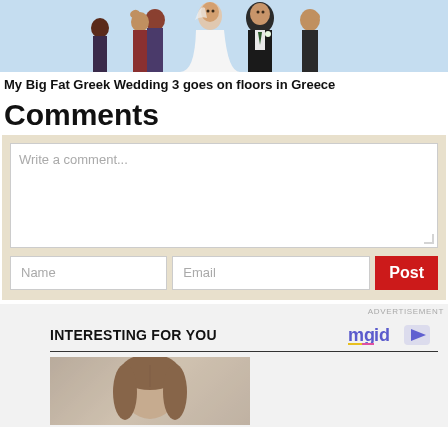[Figure (photo): Wedding group photo: bride in white dress, groom in tuxedo, family members celebrating, light blue background]
My Big Fat Greek Wedding 3 goes on floors in Greece
Comments
Write a comment... [text input area with Name, Email fields and Post button]
ADVERTISEMENT
INTERESTING FOR YOU
[Figure (photo): Promotional thumbnail showing a woman with brown hair]